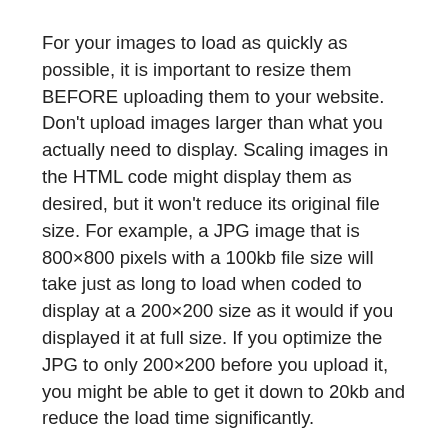For your images to load as quickly as possible, it is important to resize them BEFORE uploading them to your website. Don't upload images larger than what you actually need to display. Scaling images in the HTML code might display them as desired, but it won't reduce its original file size. For example, a JPG image that is 800×800 pixels with a 100kb file size will take just as long to load when coded to display at a 200×200 size as it would if you displayed it at full size. If you optimize the JPG to only 200×200 before you upload it, you might be able to get it down to 20kb and reduce the load time significantly.
The PNG image format is actually the best choice as it allows to store high quality images with a high level of compression. Unfortunately, PNG files are usually large due to the simple fact that they are not compressed. To compress PNG images, you can use TinyPNG.org, a free online tool that